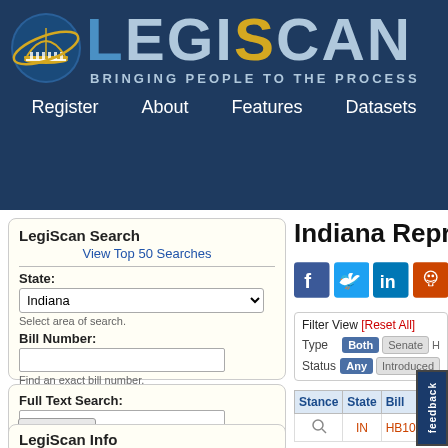[Figure (logo): LegiScan logo with capitol dome icon, text 'LegiScan' and tagline 'Bringing People To The Process' on dark blue background]
Register  About  Features  Datasets
LegiScan Search
View Top 50 Searches
State: Indiana
Select area of search.
Bill Number:
Find an exact bill number.
Full Text Search:
Search bill text and data. [help]
Search  Reset
LegiScan Info
Indiana Represent
[Figure (infographic): Social media share buttons: Facebook, Twitter, LinkedIn, Reddit]
Filter View [Reset All]
Type   Both   Senate   H
Status   Any   Introduced
| Stance | State | Bill |
| --- | --- | --- |
| (search icon) | IN | HB1014 |